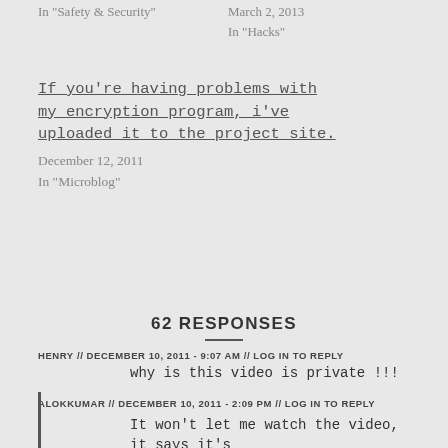In "Safety & Security"
March 2, 2013
In "Hacks"
If you're having problems with my encryption program, i've uploaded it to the project site.
December 12, 2011
In "Microblog"
62 RESPONSES
HENRY // DECEMBER 10, 2011 - 9:07 AM // LOG IN TO REPLY
why is this video is private !!!
ALOKKUMAR // DECEMBER 10, 2011 - 2:09 PM // LOG IN TO REPLY
It won't let me watch the video, it says it's private 😐
ROBERT // DECEMBER 16, 2011 - 4:36 PM // LOG IN TO REPLY
@Alok why don't you just watch it on youtube